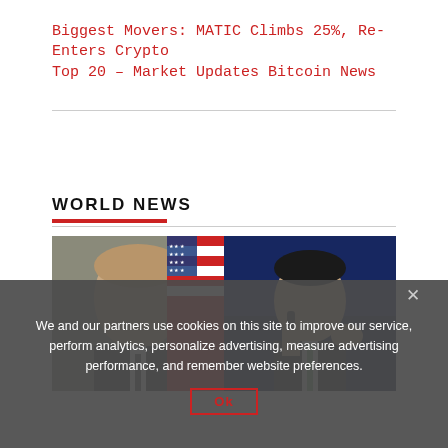Biggest Movers: MATIC Climbs 25%, Re-Enters Crypto Top 20 – Market Updates Bitcoin News
[Figure (photo): Two side-by-side photos: left shows a man in a suit with an American flag in the background; right shows Elon Musk speaking at a microphone against a blue background.]
WORLD NEWS
We and our partners use cookies on this site to improve our service, perform analytics, personalize advertising, measure advertising performance, and remember website preferences.